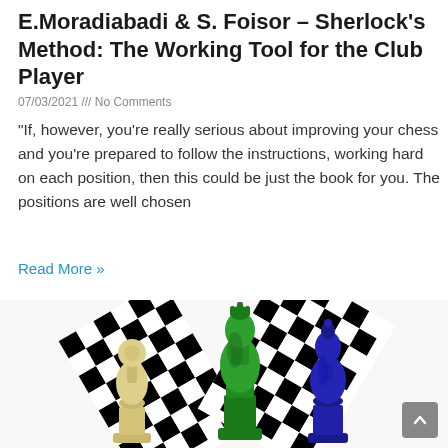E.Moradiabadi & S. Foisor – Sherlock's Method: The Working Tool for the Club Player
07/03/2021 /// No Comments
“If, however, you’re really serious about improving your chess and you’re prepared to follow the instructions, working hard on each position, then this could be just the book for you. The positions are well chosen
Read More »
[Figure (photo): Chess pieces on a chequered background: a tan/ivory pawn on the left, a large green queen in the centre, and a blue bishop on the right, with black-and-white chequered patterns in the background.]